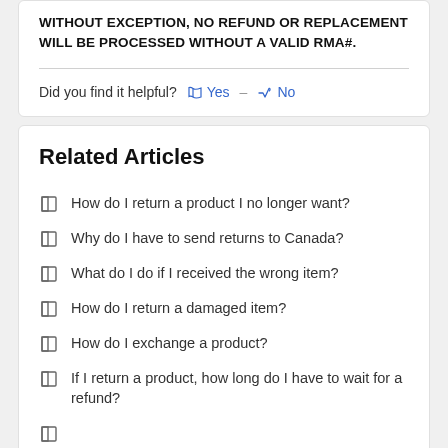WITHOUT EXCEPTION, NO REFUND OR REPLACEMENT WILL BE PROCESSED WITHOUT A VALID RMA#.
Did you find it helpful? Yes No
Related Articles
How do I return a product I no longer want?
Why do I have to send returns to Canada?
What do I do if I received the wrong item?
How do I return a damaged item?
How do I exchange a product?
If I return a product, how long do I have to wait for a refund?
...